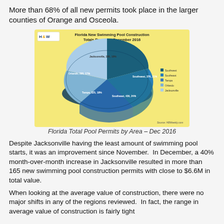More than 68% of all new permits took place in the larger counties of Orange and Osceola.
[Figure (pie-chart): 3D pie chart showing Florida New Swimming Pool Construction Totals Permits for December 2016, with five regions labeled.]
Florida Total Pool Permits by Area – Dec 2016
Despite Jacksonville having the least amount of swimming pool starts, it was an improvement since November.  In December, a 40% month-over-month increase in Jacksonville resulted in more than 165 new swimming pool construction permits with close to $6.6M in total value.
When looking at the average value of construction, there were no major shifts in any of the regions reviewed.  In fact, the range in average value of construction is fairly tight